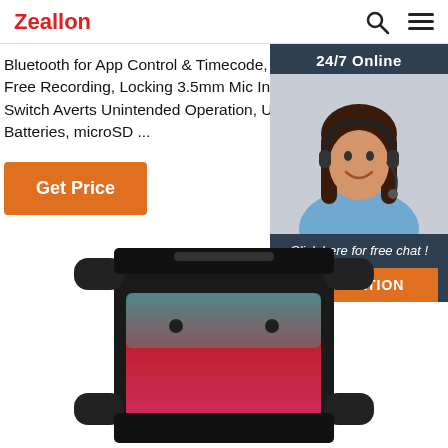Zeallon
Bluetooth for App Control & Timecode, 32-Bit Float Distortion-Free Recording, Locking 3.5mm Mic Input, Plug-In Power, Hold Switch Averts Unintended Operation, USB Power 14 Hou... Batteries, microSD ...
Get Price
[Figure (photo): Chat widget with a woman wearing a headset, labeled '24/7 Online' at top and 'Click here for free chat!' with a QUOTATION button at bottom]
[Figure (photo): Portable Bluetooth speaker with black casing and colorful front panel with red and teal lighting effects]